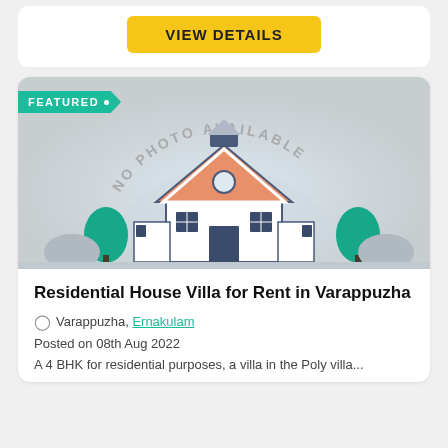VIEW DETAILS
[Figure (illustration): Real estate listing card with 'NO PHOTO AVAILABLE' placeholder showing a cartoon house illustration with salmon/orange roof, white walls, teal trees on sides, and a FEATURED badge in teal on the top left.]
Residential House Villa for Rent in Varappuzha
Varappuzha, Ernakulam
Posted on 08th Aug 2022
A 4 BHK for residential purposes, a villa in the Poly villa...